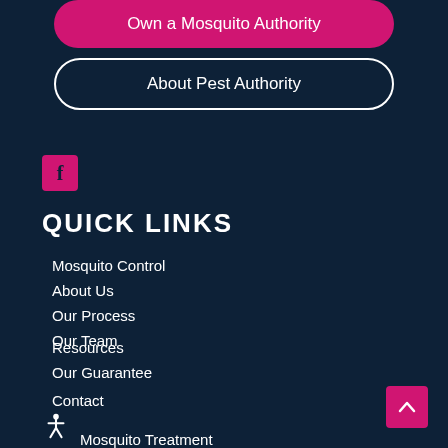Own a Mosquito Authority
About Pest Authority
[Figure (logo): Facebook icon - pink square with white f letter]
QUICK LINKS
Mosquito Control
About Us
Our Process
Our Team
Resources
Our Guarantee
Contact
[Figure (illustration): Scroll to top button - pink square with upward chevron]
[Figure (illustration): Accessibility icon - wheelchair symbol]
Mosquito Treatment